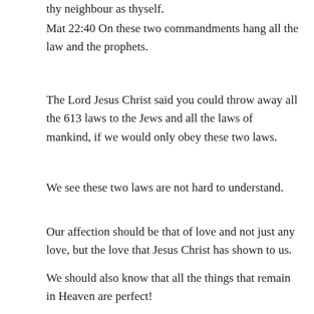thy neighbour as thyself.
Mat 22:40 On these two commandments hang all the law and the prophets.
The Lord Jesus Christ said you could throw away all the 613 laws to the Jews and all the laws of mankind, if we would only obey these two laws.
We see these two laws are not hard to understand.
Our affection should be that of love and not just any love, but the love that Jesus Christ has shown to us.
We should also know that all the things that remain in Heaven are perfect!
Psa 19:7 The law of the LORD is perfect, converting the